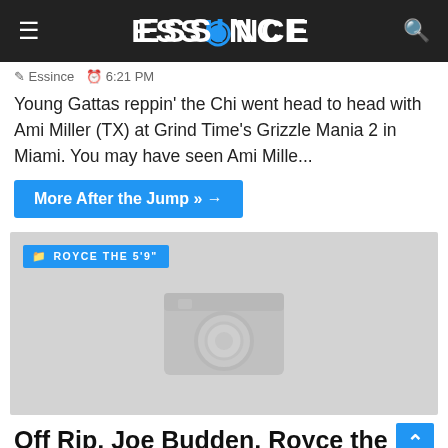ESSINCE
Essince  6:21 PM
Young Gattas reppin' the Chi went head to head with Ami Miller (TX) at Grind Time's Grizzle Mania 2 in Miami. You may have seen Ami Mille...
More After the Jump » →
[Figure (photo): Gray placeholder image with camera icon and category tag 'ROYCE THE 5'9"']
Off Rip, Joe Budden, Royce the 5'9", & Chize - "Cocky & Arrogant"